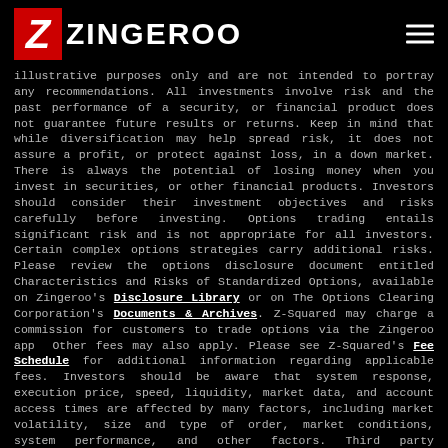ZINGEROO
illustrative purposes only and are not intended to portray any recommendations. All investments involve risk and the past performance of a security, or financial product does not guarantee future results or returns. Keep in mind that while diversification may help spread risk, it does not assure a profit, or protect against loss, in a down market. There is always the potential of losing money when you invest in securities, or other financial products. Investors should consider their investment objectives and risks carefully before investing. Options trading entails significant risk and is not appropriate for all investors. Certain complex options strategies carry additional risks. Please review the options disclosure document entitled Characteristics and Risks of Standardized Options, available on Zingeroo's Disclosure Library or on The Options Clearing Corporation's Documents & Archives. Z-Squared may charge a commission for customers to trade options via the Zingeroo app  Other fees may also apply. Please see Z-Squared's Fee Schedule for additional information regarding applicable fees. Investors should be aware that system response, execution price, speed, liquidity, market data, and account access times are affected by many factors, including market volatility, size and type of order, market conditions, system performance, and other factors. Third party information provided for Zingeroo product features, Zingeroo and Z-Squared communications and communications emanating from its social media community, market prices, data and other information available through Zingeroo are meant for informational purposes only and are not intended as an offer or solicitation for the purchase or sale of any financial instrument or as an official confirmation of any transaction. The information provided is not warranted as to completeness or accuracy and is subject to